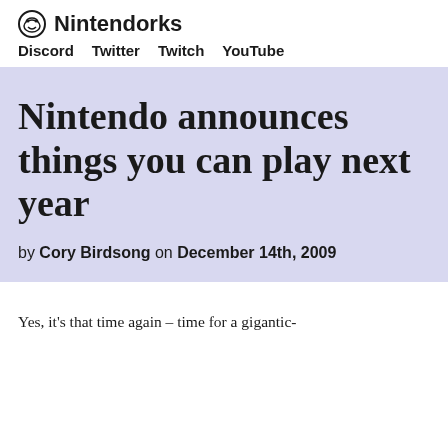Nintendorks
Discord   Twitter   Twitch   YouTube
Nintendo announces things you can play next year
by Cory Birdsong on December 14th, 2009
Yes, it's that time again – time for a gigantic-